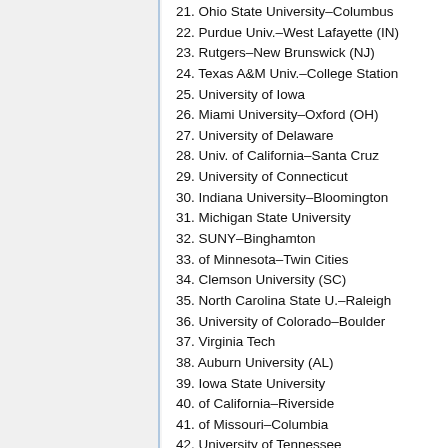21. Ohio State University–Columbus
22. Purdue Univ.–West Lafayette (IN)
23. Rutgers–New Brunswick (NJ)
24. Texas A&M Univ.–College Station
25. University of Iowa
26. Miami University–Oxford (OH)
27. University of Delaware
28. Univ. of California–Santa Cruz
29. University of Connecticut
30. Indiana University–Bloomington
31. Michigan State University
32. SUNY–Binghamton
33. of Minnesota–Twin Cities
34. Clemson University (SC)
35. North Carolina State U.–Raleigh
36. University of Colorado–Boulder
37. Virginia Tech
38. Auburn University (AL)
39. Iowa State University
40. of California–Riverside
41. of Missouri–Columbia
42. University of Tennessee